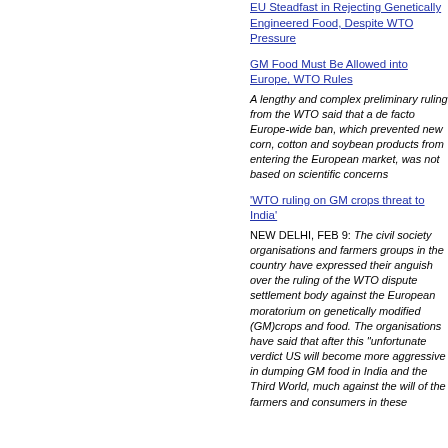EU Steadfast in Rejecting Genetically Engineered Food, Despite WTO Pressure
GM Food Must Be Allowed into Europe, WTO Rules
A lengthy and complex preliminary ruling from the WTO said that a de facto Europe-wide ban, which prevented new corn, cotton and soybean products from entering the European market, was not based on scientific concerns
'WTO ruling on GM crops threat to India'
NEW DELHI, FEB 9: The civil society organisations and farmers groups in the country have expressed their anguish over the ruling of the WTO dispute settlement body against the European moratorium on genetically modified (GM)crops and food. The organisations have said that after this "unfortunate verdict US will become more aggressive in dumping GM food in India and the Third World, much against the will of the farmers and consumers in these